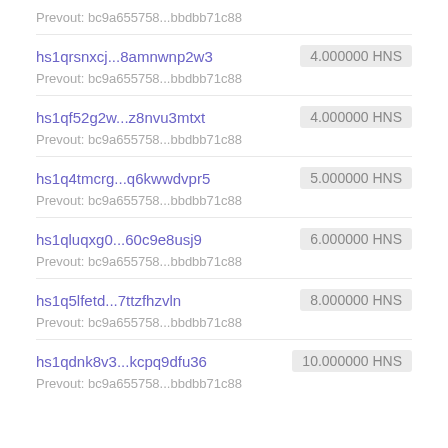Prevout: bc9a655758...bbdbb71c88
hs1qrsnxcj...8amnwnp2w3  4.000000 HNS
Prevout: bc9a655758...bbdbb71c88
hs1qf52g2w...z8nvu3mtxt  4.000000 HNS
Prevout: bc9a655758...bbdbb71c88
hs1q4tmcrg...q6kwwdvpr5  5.000000 HNS
Prevout: bc9a655758...bbdbb71c88
hs1qluqxg0...60c9e8usj9  6.000000 HNS
Prevout: bc9a655758...bbdbb71c88
hs1q5lfetd...7ttzfhzvln  8.000000 HNS
Prevout: bc9a655758...bbdbb71c88
hs1qdnk8v3...kcpq9dfu36  10.000000 HNS
Prevout: bc9a655758...bbdbb71c88